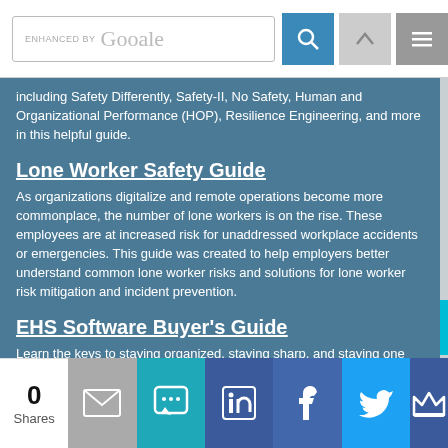ENHANCED BY Google [search bar with icons]
including Safety Differently, Safety-II, No Safety, Human and Organizational Performance (HOP), Resilience Engineering, and more in this helpful guide.
Lone Worker Safety Guide
As organizations digitalize and remote operations become more commonplace, the number of lone workers is on the rise. These employees are at increased risk for unaddressed workplace accidents or emergencies. This guide was created to help employers better understand common lone worker risks and solutions for lone worker risk mitigation and incident prevention.
EHS Software Buyer’s Guide
Learn the keys to staying organized, staying sharp, and staying one step ahead on all things safety. This buyer’s guide is designed for you to use in your search for the safety management solution that best suits your company’s needs.
0 Shares [email] [SMS] [LinkedIn] [Facebook] [Twitter] [more]